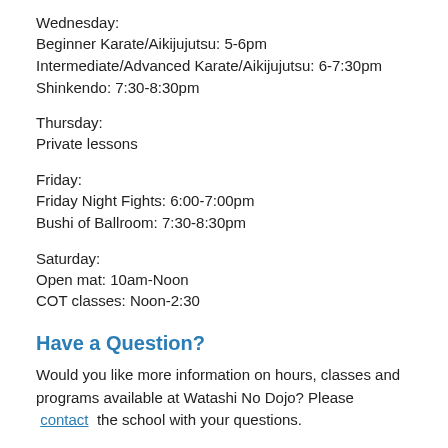Wednesday:
Beginner Karate/Aikijujutsu: 5-6pm
Intermediate/Advanced Karate/Aikijujutsu: 6-7:30pm
Shinkendo: 7:30-8:30pm
Thursday:
Private lessons
Friday:
Friday Night Fights: 6:00-7:00pm
Bushi of Ballroom: 7:30-8:30pm
Saturday:
Open mat: 10am-Noon
COT classes: Noon-2:30
Have a Question?
Would you like more information on hours, classes and programs available at Watashi No Dojo? Please contact the school with your questions.